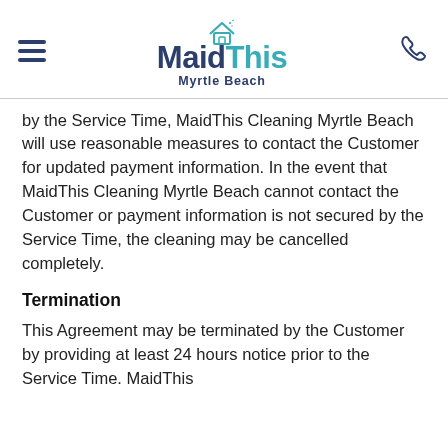MaidThis Myrtle Beach
by the Service Time, MaidThis Cleaning Myrtle Beach will use reasonable measures to contact the Customer for updated payment information. In the event that MaidThis Cleaning Myrtle Beach cannot contact the Customer or payment information is not secured by the Service Time, the cleaning may be cancelled completely.
Termination
This Agreement may be terminated by the Customer by providing at least 24 hours notice prior to the Service Time. MaidThis